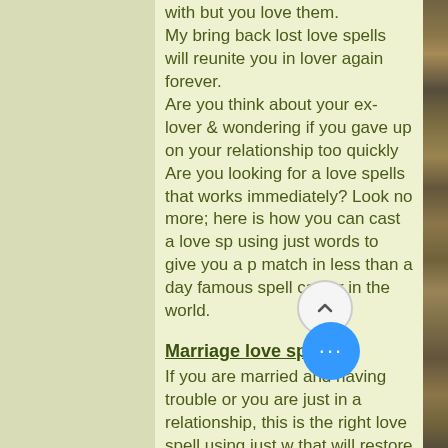with but you love them. My bring back lost love spells will reunite you in lover again forever. Are you think about your ex-lover & wondering if you gave up on your relationship too quickly Are you looking for a love spells that works immediately? Look no more; here is how you can cast a love spell using just words to give you a perfect match in less than a day famous spell caster in the world.
Marriage love spell
If you are married and having trouble or you are just in a relationship, this is the right love spell using just words that will restore your original happiness Lost Love Spells
[Figure (photo): Partial view of an animal (possibly a cat or dog) fur texture visible on the right side of the page]